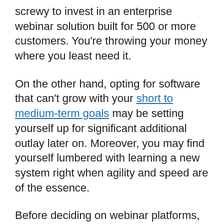screwy to invest in an enterprise webinar solution built for 500 or more customers. You're throwing your money where you least need it.
On the other hand, opting for software that can't grow with your short to medium-term goals may be setting yourself up for significant additional outlay later on. Moreover, you may find yourself lumbered with learning a new system right when agility and speed are of the essence.
Before deciding on webinar platforms, crunch your numbers. Where is your business plan taking you in terms of audience size?
Ideally, set a realistic upper and lower range, and shortlist your software choices to products that will choke neither your profitability nor